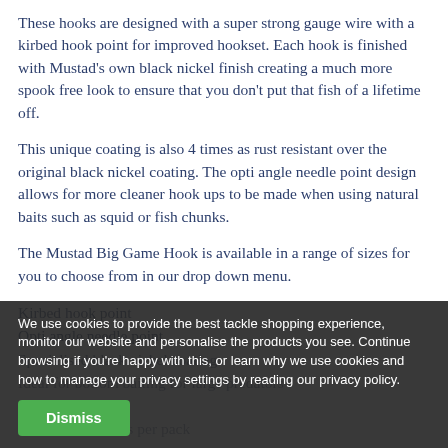These hooks are designed with a super strong gauge wire with a kirbed hook point for improved hookset. Each hook is finished with Mustad's own black nickel finish creating a much more spook free look to ensure that you don't put that fish of a lifetime off.
This unique coating is also 4 times as rust resistant over the original black nickel coating. The opti angle needle point design allows for more cleaner hook ups to be made when using natural baits such as squid or fish chunks.
The Mustad Big Game Hook is available in a range of sizes for you to choose from in our drop down menu.
Kirbed hook point
Opti angle needle point
Specialised black nickel coating
Ideal for bottom baiting for large predators
Pack sizes:
Size 10 - 10 hooks per pack
Size -- hooks per pack
Size 6 - 10 hooks per pack
We use cookies to provide the best tackle shopping experience, monitor our website and personalise the products you see. Continue browsing if you're happy with this, or learn why we use cookies and how to manage your privacy settings by reading our privacy policy.